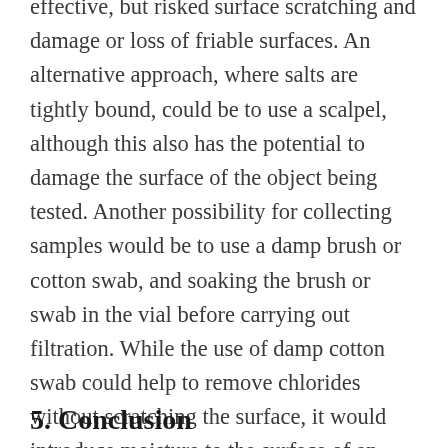effective, but risked surface scratching and damage or loss of friable surfaces. An alternative approach, where salts are tightly bound, could be to use a scalpel, although this also has the potential to damage the surface of the object being tested. Another possibility for collecting samples would be to use a damp brush or cotton swab, and soaking the brush or swab in the vial before carrying out filtration. While the use of damp cotton swab could help to remove chlorides without scratching the surface, it would introduce moisture to the surface of an already contaminated object, potentially leading to further salt distribution within the object.
5. Conclusion